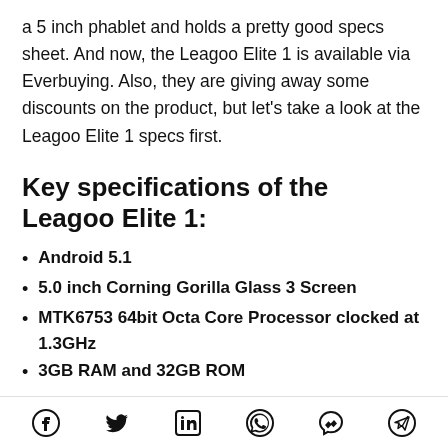a 5 inch phablet and holds a pretty good specs sheet. And now, the Leagoo Elite 1 is available via Everbuying. Also, they are giving away some discounts on the product, but let's take a look at the Leagoo Elite 1 specs first.
Key specifications of the Leagoo Elite 1:
Android 5.1
5.0 inch Corning Gorilla Glass 3 Screen
MTK6753 64bit Octa Core Processor clocked at 1.3GHz
3GB RAM and 32GB ROM
Social share icons: Facebook, Twitter, LinkedIn, WhatsApp, Messenger, Telegram